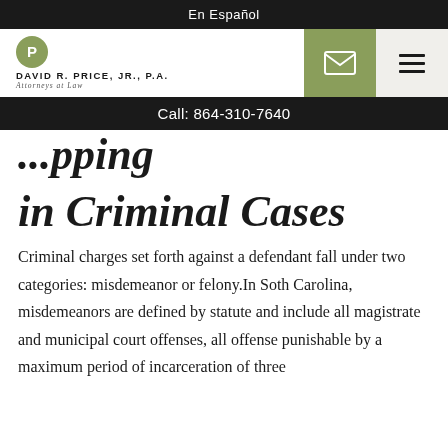En Español
[Figure (logo): David R. Price, Jr., P.A. Attorneys at Law logo with green circle P emblem, mail icon button, and hamburger menu button]
Call: 864-310-7640
in Criminal Cases
Criminal charges set forth against a defendant fall under two categories: misdemeanor or felony.In Soth Carolina, misdemeanors are defined by statute and include all magistrate and municipal court offenses, all offense punishable by a maximum period of incarceration of three